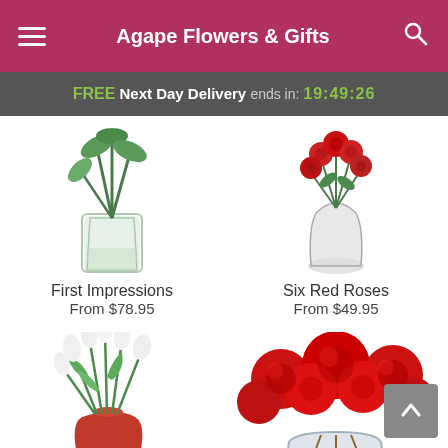Agape Flowers & Gifts
FREE Next Day Delivery ends in: 19:49:26
[Figure (photo): Product photo of First Impressions flower arrangement in clear vase with green tropical leaves]
First Impressions
From $78.95
[Figure (photo): Product photo of Six Red Roses bouquet in small glass vase]
Six Red Roses
From $49.95
[Figure (photo): Product photo of white tulips in red vase]
[Figure (photo): Product photo of red roses bouquet in clear glass vase]